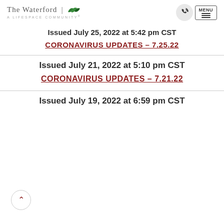The Waterford | A Lifespace Community
Issued July 25, 2022 at 5:42 pm CST
CORONAVIRUS UPDATES – 7.25.22
Issued July 21, 2022 at 5:10 pm CST
CORONAVIRUS UPDATES – 7.21.22
Issued July 19, 2022 at 6:59 pm CST